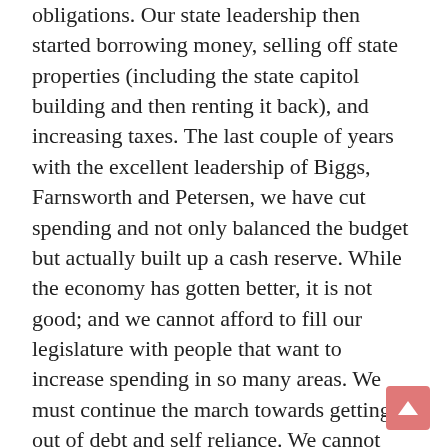obligations.  Our state leadership then started borrowing money, selling off state properties (including the state capitol building and then renting it back), and increasing taxes.  The last couple of years with the excellent leadership of Biggs, Farnsworth and Petersen, we have cut spending and not only balanced the budget but actually built up a cash reserve.  While the economy has gotten better, it is not good; and we cannot afford to fill our legislature with people that want to increase spending in so many areas.  We must continue the march towards getting out of debt and self reliance.  We cannot continue adding programs simply because the federal government agrees to pay for some of it.  That “free money” comes with strings and a major loss of control.  In addition to that, those funds can stop at anytime after the agreed upon infusion of cash.  What happens when the federal funds (really ours) dries